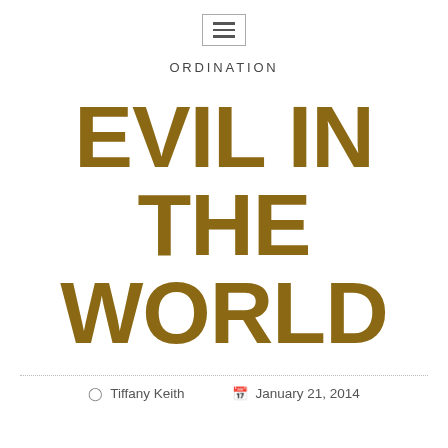≡
ORDINATION
EVIL IN THE WORLD
Tiffany Keith    January 21, 2014